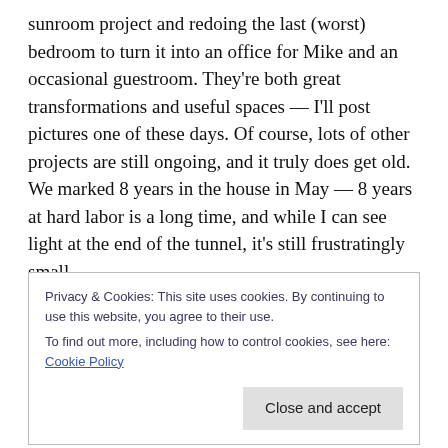sunroom project and redoing the last (worst) bedroom to turn it into an office for Mike and an occasional guestroom. They're both great transformations and useful spaces — I'll post pictures one of these days. Of course, lots of other projects are still ongoing, and it truly does get old. We marked 8 years in the house in May — 8 years at hard labor is a long time, and while I can see light at the end of the tunnel, it's still frustratingly small.
But this isn't about that. What's bothering me lately is my inability to focus on work the way I used to. I've made
Privacy & Cookies: This site uses cookies. By continuing to use this website, you agree to their use.
To find out more, including how to control cookies, see here: Cookie Policy
Close and accept
some progress on that recently and I'll post about the results